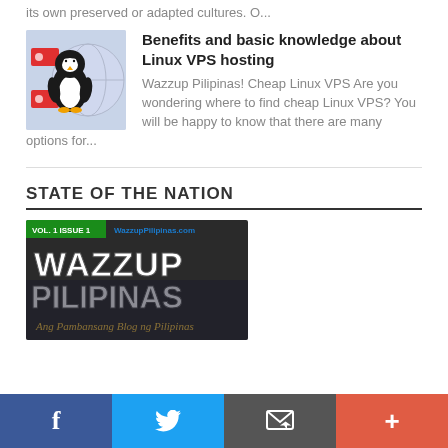its own preserved or adapted cultures. O...
Benefits and basic knowledge about Linux VPS hosting
Wazzup Pilipinas! Cheap Linux VPS Are you wondering where to find cheap Linux VPS? You will be happy to know that there are many options for...
STATE OF THE NATION
[Figure (photo): Wazzup Pilipinas blog banner image with text: VOL. 1 ISSUE 1, WazzupPilipinas.com, WAZZUP PILIPINAS, Ang Pambansang Blog ng Pilipinas]